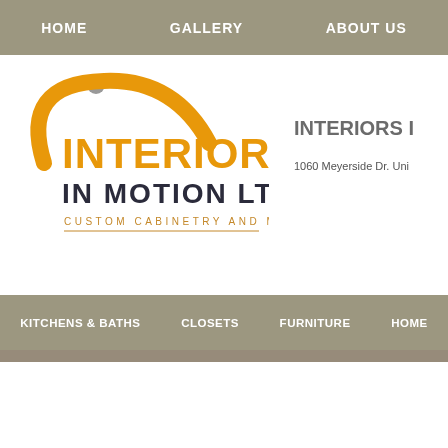HOME   GALLERY   ABOUT US
[Figure (logo): Interiors In Motion Ltd. logo with orange arc and dot, tagline: Custom Cabinetry and Millwork]
INTERIORS I
1060 Meyerside Dr. Uni
KITCHENS & BATHS   CLOSETS   FURNITURE   HOME